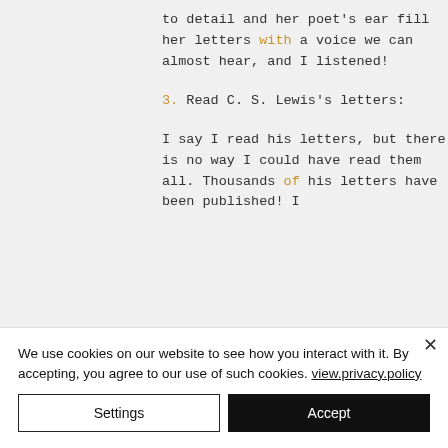to detail and her poet's ear fill her letters with a voice we can almost hear, and I listened!
3. Read C. S. Lewis's letters:
I say I read his letters, but there is no way I could have read them all. Thousands of his letters have been published! I
We use cookies on our website to see how you interact with it. By accepting, you agree to our use of such cookies. view.privacy.policy